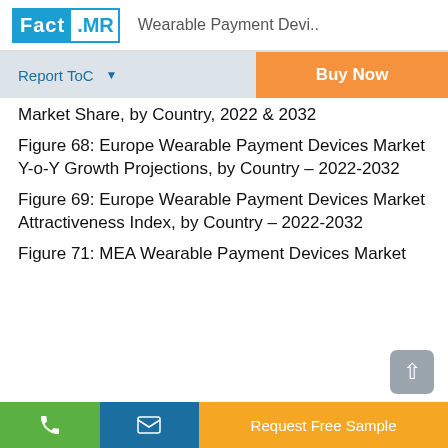Fact.MR  Wearable Payment Devi..
Report ToC  ▼   Buy Now
Market Share, by Country, 2022 & 2032
Figure 68: Europe Wearable Payment Devices Market Y-o-Y Growth Projections, by Country – 2022-2032
Figure 69: Europe Wearable Payment Devices Market Attractiveness Index, by Country – 2022-2032
Figure 71: MEA Wearable Payment Devices Market
Request Free Sample